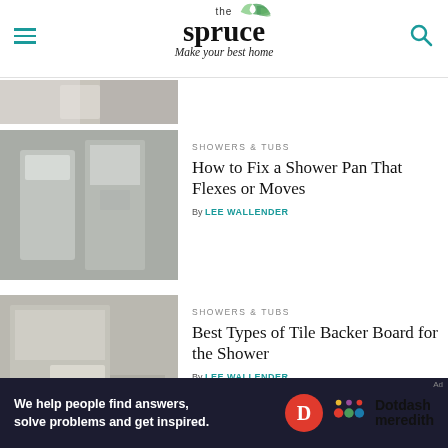the spruce — Make your best home
[Figure (photo): Partial bathroom image at top, cropped]
SHOWERS & TUBS
How to Fix a Shower Pan That Flexes or Moves
By LEE WALLENDER
[Figure (photo): Shower with niche in tiled bathroom]
SHOWERS & TUBS
Best Types of Tile Backer Board for the Shower
By LEE WALLENDER
[Figure (photo): Bathroom under renovation with backer board installed]
We help people find answers, solve problems and get inspired. Dotdash meredith